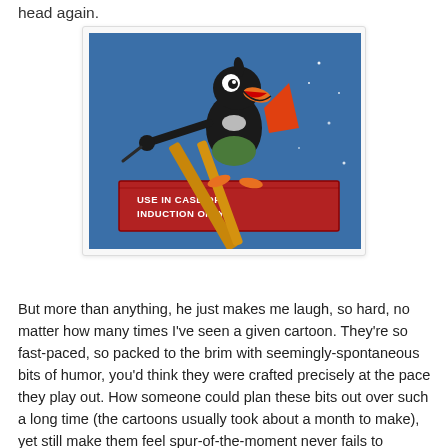head again.
[Figure (illustration): Daffy Duck animated cartoon character riding a rocket labeled 'USE IN CASE OF INDUCTION ONLY' against a blue starry sky background.]
But more than anything, he just makes me laugh, so hard, no matter how many times I've seen a given cartoon. They're so fast-paced, so packed to the brim with seemingly-spontaneous bits of humor, you'd think they were crafted precisely at the pace they play out. How someone could plan these bits out over such a long time (the cartoons usually took about a month to make), yet still make them feel spur-of-the-moment never fails to astound me. There are throwaway gags in his work funnier than most feature films.